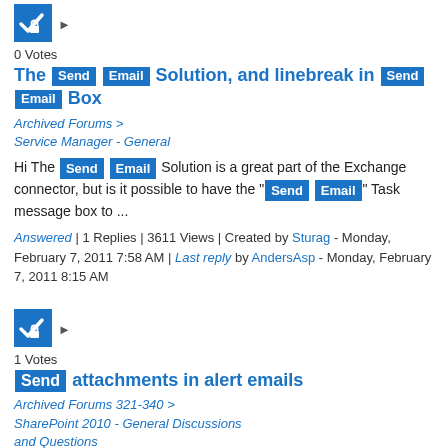[Figure (illustration): Blue square icon with white checkmark and lock symbol, with a right-pointing triangle arrow next to it]
0 Votes
The Send Email Solution, and linebreak in Send Email Box
Archived Forums > Service Manager - General
Hi The Send Email Solution is a great part of the Exchange connector, but is it possible to have the "Send Email" Task message box to ...
Answered | 1 Replies | 3611 Views | Created by Sturag - Monday, February 7, 2011 7:58 AM | Last reply by AndersAsp - Monday, February 7, 2011 8:15 AM
[Figure (illustration): Blue square icon with white checkmark and lock symbol, with a right-pointing triangle arrow next to it]
1 Votes
Send attachments in alert emails
Archived Forums 321-340 > SharePoint 2010 - General Discussions and Questions
YOu can create an sharepoint designer simple workflow which can send emails with attachments...